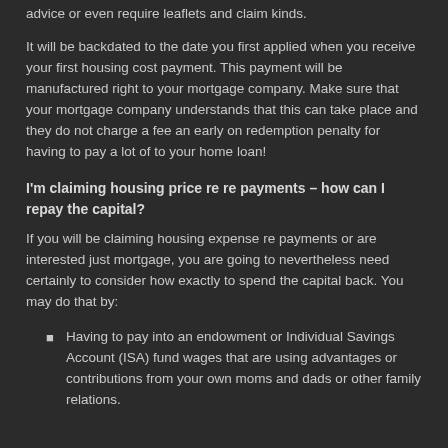advice or even require leaflets and claim kinds.
It will be backdated to the date you first applied when you receive your first housing cost payment. This payment will be manufactured right to your mortgage company. Make sure that your mortgage company understands that this can take place and they do not charge a fee an early on redemption penalty for having to pay a lot of to your home loan!
I'm claiming housing price re re payments – how can I repay the capital?
If you will be claiming housing expense re payments or are interested just mortgage, you are going to nevertheless need certainly to consider how exactly to spend the capital back. You may do that by:
Having to pay into an endowment or Individual Savings Account (ISA) fund wages that are using advantages or contributions from your own moms and dads or other family relations.